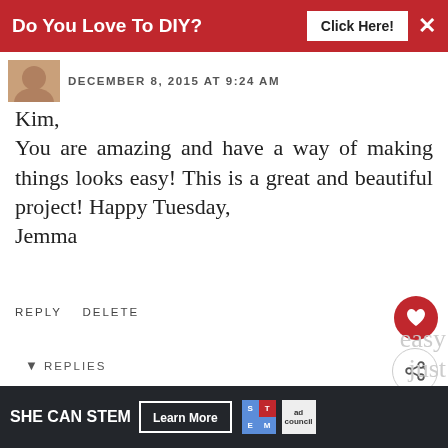[Figure (screenshot): Red ad banner: 'Do You Love To DIY? Click Here!' with X close button]
DECEMBER 8, 2015 AT 9:24 AM
Kim,
You are amazing and have a way of making things looks easy! This is a great and beautiful project! Happy Tuesday,
Jemma
REPLY   DELETE
▼  REPLIES
Kim
DECEMBER 8, 2015 AT 9:35 AM
WHAT'S NEXT → Gift Bag Christmas...
[Figure (screenshot): Bottom advertisement: SHE CAN STEM - Learn More, STEM logo, ad council logo]
easy just